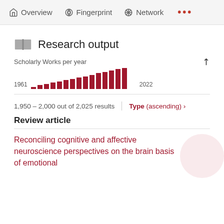Overview   Fingerprint   Network   ...
Research output
[Figure (bar-chart): Scholarly Works per year]
1,950 – 2,000 out of 2,025 results
Type (ascending) ›
Review article
Reconciling cognitive and affective neuroscience perspectives on the brain basis of emotional